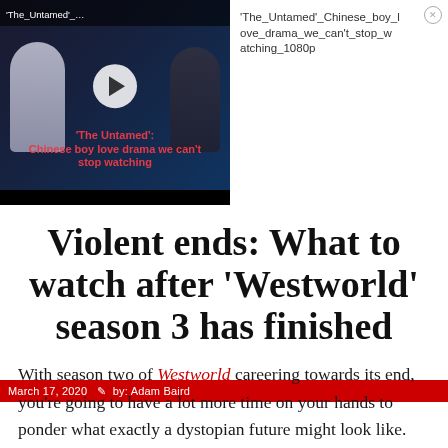[Figure (screenshot): Video thumbnail for 'The Untamed' Chinese boy love drama with play button overlay and red title text, alongside ad title text and close button]
March 17, 2020   by: Adam Baird
Violent ends: What to watch after 'Westworld' season 3 has finished
With season two of Westworld careering towards its end, you're going to have a lot more time on your hands to ponder what exactly a dystopian future might look like.